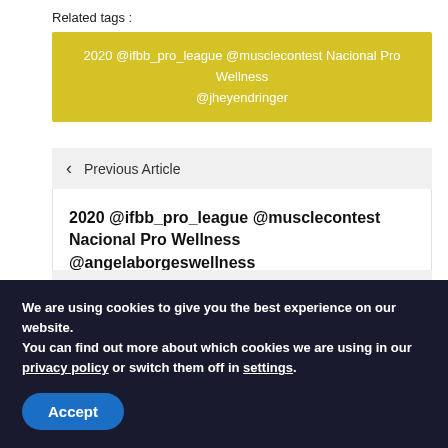Related tags :
2020 @ifbb_pro_league @musclecontest Nacional Pro Wellness @jheyendringer
< Previous Article
2020 @ifbb_pro_league @musclecontest Nacional Pro Wellness @angelaborgeswellness
Next Article >
2020 @ifbb_pro_league @musclecontest Nacional
We are using cookies to give you the best experience on our website.
You can find out more about which cookies we are using in our privacy policy or switch them off in settings.
Accept